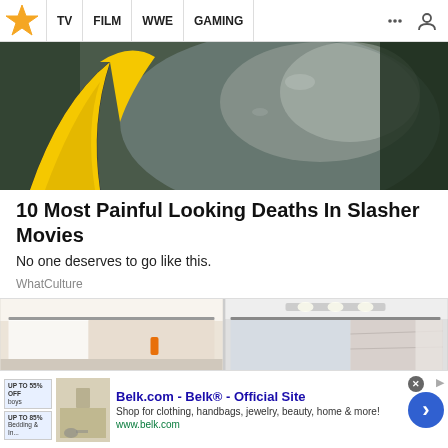TV | FILM | WWE | GAMING
[Figure (screenshot): Hero image from a slasher movie showing a figure with yellow cartoon bat ears overlaid on a dark scene]
10 Most Painful Looking Deaths In Slasher Movies
No one deserves to go like this.
WhatCulture
[Figure (photo): Two side-by-side photos of bathroom shower areas]
Belk.com - Belk® - Official Site
Shop for clothing, handbags, jewelry, beauty, home & more!
www.belk.com